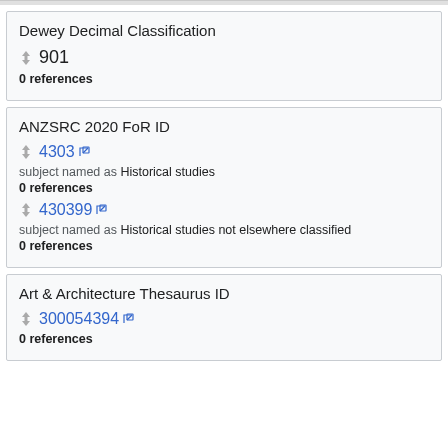Dewey Decimal Classification
901
0 references
ANZSRC 2020 FoR ID
4303
subject named as Historical studies
0 references
430399
subject named as Historical studies not elsewhere classified
0 references
Art & Architecture Thesaurus ID
300054394
0 references